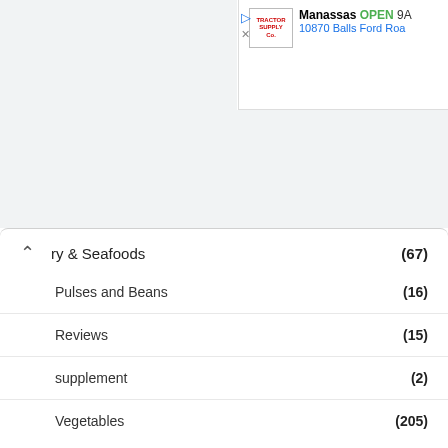[Figure (screenshot): Top advertisement banner for Tractor Supply showing Manassas store OPEN, 10870 Balls Ford Road]
ry & Seafoods (67)
Pulses and Beans (16)
Reviews (15)
supplement (2)
Vegetables (205)
[Figure (screenshot): Bottom advertisement banner with HC logo, 'view store hours, get directions, or call your salon!' text and navigation arrow icon. Walk-Ins Available text partially visible.]